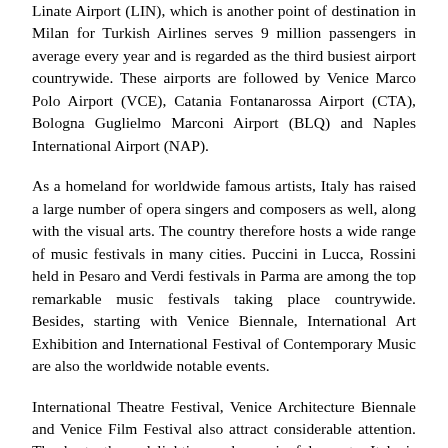Linate Airport (LIN), which is another point of destination in Milan for Turkish Airlines serves 9 million passengers in average every year and is regarded as the third busiest airport countrywide. These airports are followed by Venice Marco Polo Airport (VCE), Catania Fontanarossa Airport (CTA), Bologna Guglielmo Marconi Airport (BLQ) and Naples International Airport (NAP).
As a homeland for worldwide famous artists, Italy has raised a large number of opera singers and composers as well, along with the visual arts. The country therefore hosts a wide range of music festivals in many cities. Puccini in Lucca, Rossini held in Pesaro and Verdi festivals in Parma are among the top remarkable music festivals taking place countrywide. Besides, starting with Venice Biennale, International Art Exhibition and International Festival of Contemporary Music are also the worldwide notable events.
International Theatre Festival, Venice Architecture Biennale and Venice Film Festival also attract considerable attention. Thanks to these delighting and meaningful events, Italy is flooded by thousands of art lovers and worldwide famous artists in the end of summer each year. Held in February, the extremely fun Venice Carnival shines out as one of the most popular events taking place in the country, together with Milan Fashion Week